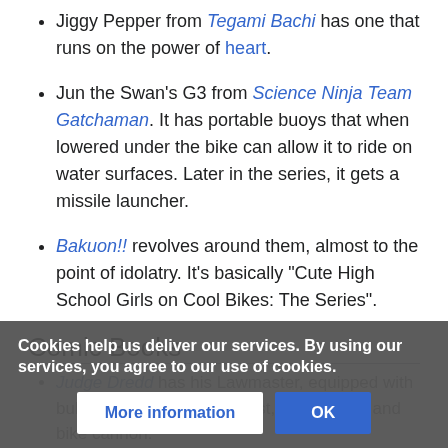Jiggy Pepper from Tegami Bachi has one that runs on the power of heart.
Jun the Swan's G3 from Science Ninja Team Gatchaman. It has portable buoys that when lowered under the bike can allow it to ride on water surfaces. Later in the series, it gets a missile launcher.
Bakuon!! revolves around them, almost to the point of idolatry. It's basically "Cute High School Girls on Cool Bikes: The Series".
Comic Books
Judge Dredd has his Lawmaster, equipped with bulletproof tyres, Nitro Boost, on-board AI and bike cannon.
Cookies help us deliver our services. By using our services, you agree to our use of cookies.